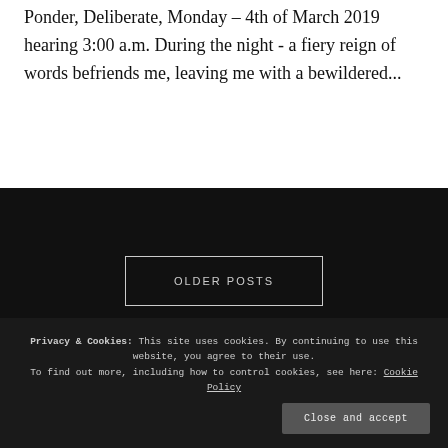Ponder, Deliberate, Monday – 4th of March 2019 hearing 3:00 a.m. During the night - a fiery reign of words befriends me, leaving me with a bewildered...
OLDER POSTS
Privacy & Cookies: This site uses cookies. By continuing to use this website, you agree to their use. To find out more, including how to control cookies, see here: Cookie Policy
Close and accept